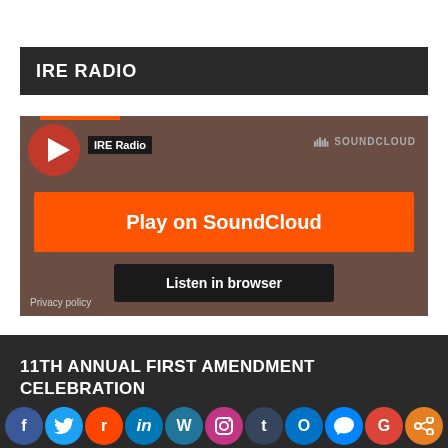IRE RADIO
[Figure (screenshot): SoundCloud embedded player widget with orange 'Play on SoundCloud' button, 'Listen in browser' button on dark brown background, IRE Radio label, SoundCloud logo, and Privacy policy link]
11TH ANNUAL FIRST AMENDMENT CELEBRATION FEATURING EVAN OSNOS
[Figure (infographic): Row of social media sharing icons: Facebook, Twitter, Reddit, LinkedIn, WordPress, Instagram, Tumblr, Microsoft Outlook, Facebook Messenger, Google, Share]